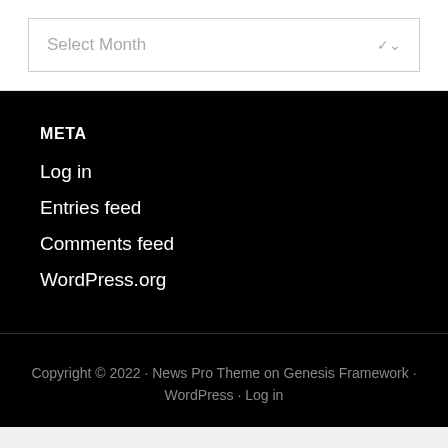Select Month
META
Log in
Entries feed
Comments feed
WordPress.org
Copyright © 2022 · News Pro Theme on Genesis Framework · WordPress · Log in